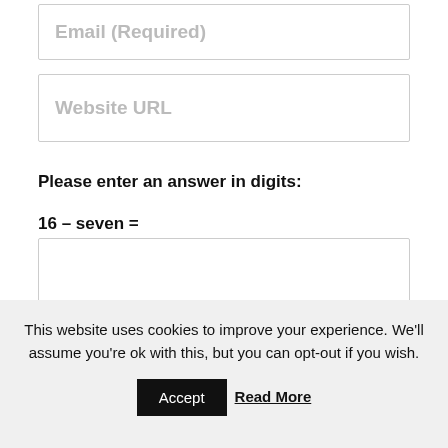Email (Required)
Website URL
Please enter an answer in digits:
16 – seven =
This website uses cookies to improve your experience. We'll assume you're ok with this, but you can opt-out if you wish.
Accept
Read More